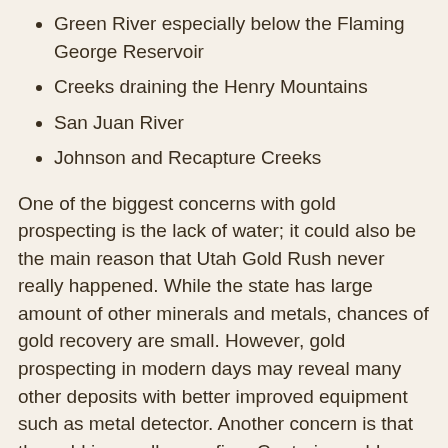Green River especially below the Flaming George Reservoir
Creeks draining the Henry Mountains
San Juan River
Johnson and Recapture Creeks
One of the biggest concerns with gold prospecting is the lack of water; it could also be the main reason that Utah Gold Rush never really happened. While the state has large amount of other minerals and metals, chances of gold recovery are small. However, gold prospecting in modern days may reveal many other deposits with better improved equipment such as metal detector. Another concern is that the gold is usually very fine. Capturing gold takes extra care or the gold will just be lost in the process.
For those who are interested in gold prospecting, Utah offers abundance of gold claim free public land open for recreational gold panning. There is no permit required as long as you use non-motorized methods such as dry-